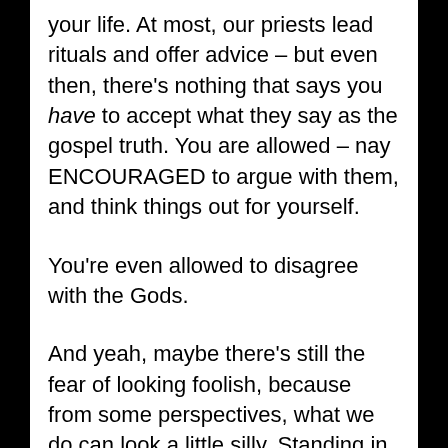your life. At most, our priests lead rituals and offer advice – but even then, there's nothing that says you have to accept what they say as the gospel truth. You are allowed – nay ENCOURAGED to argue with them, and think things out for yourself.
You're even allowed to disagree with the Gods.
And yeah, maybe there's still the fear of looking foolish, because from some perspectives, what we do can look a little silly. Standing in front of a table with pretty